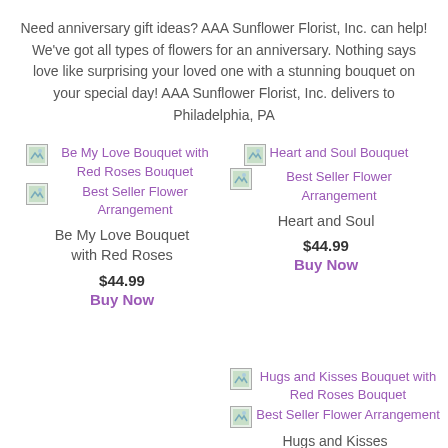Need anniversary gift ideas? AAA Sunflower Florist, Inc. can help! We've got all types of flowers for an anniversary. Nothing says love like surprising your loved one with a stunning bouquet on your special day! AAA Sunflower Florist, Inc. delivers to Philadelphia, PA
[Figure (other): Be My Love Bouquet with Red Roses Bouquet image placeholder]
[Figure (other): Best Seller Flower Arrangement image placeholder for Be My Love]
Be My Love Bouquet with Red Roses
$44.99
Buy Now
[Figure (other): Heart and Soul Bouquet image placeholder]
[Figure (other): Best Seller Flower Arrangement image placeholder for Heart and Soul]
Heart and Soul
$44.99
Buy Now
[Figure (other): Hugs and Kisses Bouquet with Red Roses Bouquet image placeholder]
[Figure (other): Best Seller Flower Arrangement image placeholder for Hugs and Kisses]
Hugs and Kisses